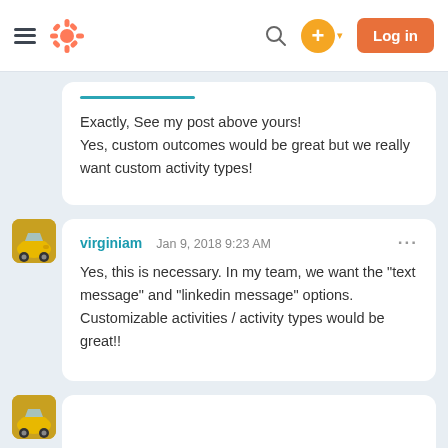HubSpot Community — Log in
Exactly, See my post above yours!
Yes, custom outcomes would be great but we really want custom activity types!
virginiam  Jan 9, 2018 9:23 AM  ···
Yes, this is necessary. In my team, we want the "text message" and "linkedin message" options. Customizable activities / activity types would be great!!